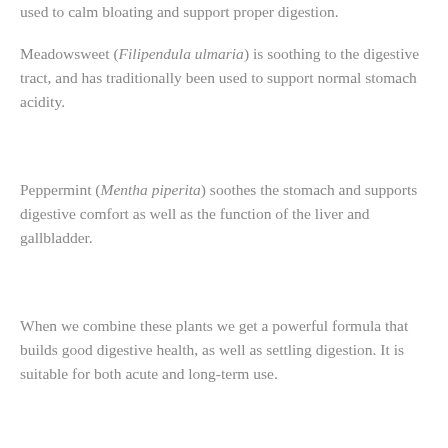used to calm bloating and support proper digestion.
Meadowsweet (Filipendula ulmaria) is soothing to the digestive tract, and has traditionally been used to support normal stomach acidity.
Peppermint (Mentha piperita) soothes the stomach and supports digestive comfort as well as the function of the liver and gallbladder.
When we combine these plants we get a powerful formula that builds good digestive health, as well as settling digestion. It is suitable for both acute and long-term use.
And because we don't pack it with unnecessary fillers or goopy sweet liquids, this is a concentrated formula with a recommended dose of just 5mls (1tsp) before meals, or as needed.
Like all Artemis products, Digestive Ease doesn't contain any